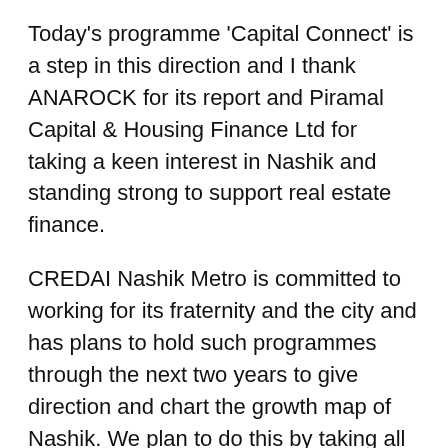Today's programme ‘Capital Connect’ is a step in this direction and I thank ANAROCK for its report and Piramal Capital & Housing Finance Ltd for taking a keen interest in Nashik and standing strong to support real estate finance.
CREDAI Nashik Metro is committed to working for its fraternity and the city and has plans to hold such programmes through the next two years to give direction and chart the growth map of Nashik. We plan to do this by taking all the various sectors in Nashik together.”
Nashik’s attractiveness as a residential end-user and investment destination is not hard to gauge. In the recent Ease of Living index, the city ranked higher than many prominent tier II cities such as Nagpur, Kochi,